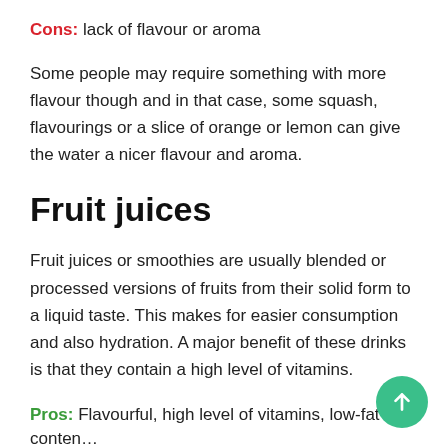Cons: lack of flavour or aroma
Some people may require something with more flavour though and in that case, some squash, flavourings or a slice of orange or lemon can give the water a nicer flavour and aroma.
Fruit juices
Fruit juices or smoothies are usually blended or processed versions of fruits from their solid form to a liquid taste. This makes for easier consumption and also hydration. A major benefit of these drinks is that they contain a high level of vitamins.
Pros: Flavourful, high level of vitamins, low-fat conten...